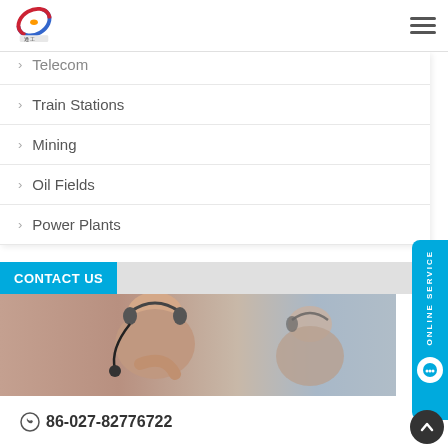Logo and hamburger menu
Telecom
Train Stations
Mining
Oil Fields
Power Plants
CONTACT US
[Figure (photo): Customer service representatives wearing headsets]
86-027-82776722